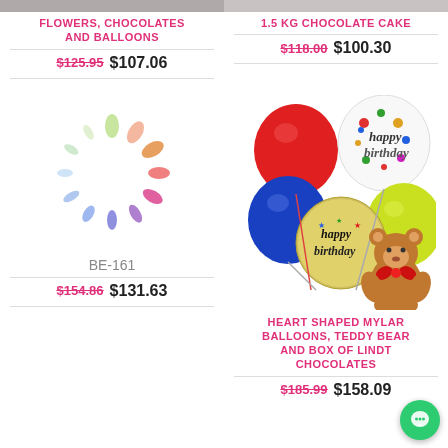[Figure (photo): Top-cropped product image strip for Flowers, Chocolates and Balloons (left) and 1.5 KG Chocolate Cake (right)]
FLOWERS, CHOCOLATES AND BALLOONS
$125.95  $107.06
1.5 KG CHOCOLATE CAKE
$118.00  $100.30
[Figure (illustration): Colorful loading spinner graphic]
BE-161
$154.86  $131.63
[Figure (photo): Heart shaped mylar balloons with happy birthday text, teddy bear holding red bow, and box of Lindt chocolates]
HEART SHAPED MYLAR BALLOONS, TEDDY BEAR AND BOX OF LINDT CHOCOLATES
$185.99  $158.09